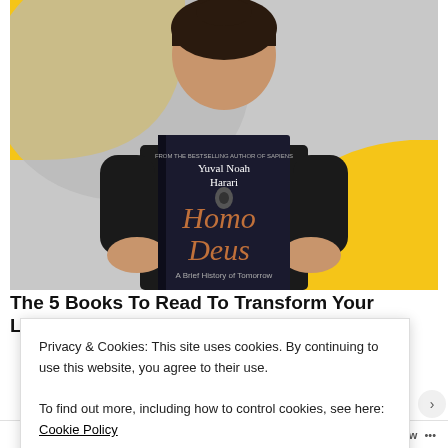[Figure (photo): A person holding up the book 'Homo Deus' by Yuval Noah Harari in front of their face. The background has yellow decorative shapes and a gray arc. The book cover is dark with the title 'Homo Deus' in large orange/red letters and subtitle text 'A Brief History of Tomorrow'.]
The 5 Books To Read To Transform Your Life
Privacy & Cookies: This site uses cookies. By continuing to use this website, you agree to their use.
To find out more, including how to control cookies, see here: Cookie Policy
Close and accept
Follow ···